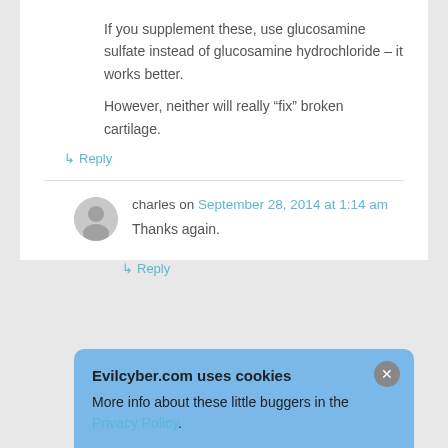If you supplement these, use glucosamine sulfate instead of glucosamine hydrochloride – it works better.
However, neither will really “fix” broken cartilage.
↳ Reply
charles on September 28, 2014 at 1:14 am
Thanks again.
↳ Reply
Evilcyber.com uses cookies
More info about these little buggers in the Privacy Policy.